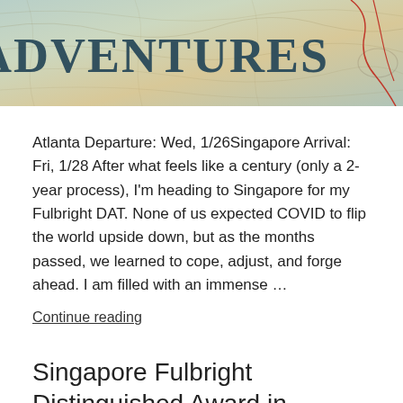[Figure (illustration): Hero banner image showing the word ADVENTURES in large bold dark teal serif font overlaid on a vintage map background with topographic lines and map markings. Red route lines visible at the right edge.]
Atlanta Departure: Wed, 1/26Singapore Arrival: Fri, 1/28 After what feels like a century (only a 2-year process), I'm heading to Singapore for my Fulbright DAT. None of us expected COVID to flip the world upside down, but as the months passed, we learned to cope, adjust, and forge ahead. I am filled with an immense …
Continue reading
Singapore Fulbright Distinguished Award in Teaching